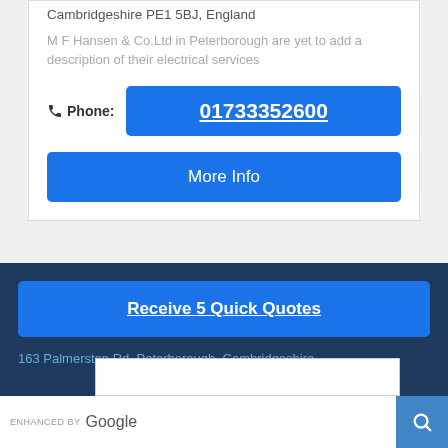Cambridgeshire PE1 5BJ, England
M F Hansen & Co.Ltd in Peterborough are yet to add a description of their electrical services
Phone: 01733352600
More Info
Receive 5 Quick Quotes
163 Palmerston Rd, Peterborough, Cambridgeshire
ENHANCED BY Google